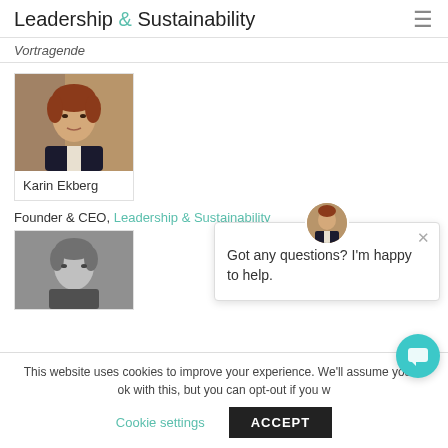Leadership & Sustainability
Vortragende
[Figure (photo): Portrait photo of Karin Ekberg, a woman with short auburn hair wearing a dark jacket]
Karin Ekberg
Founder & CEO, Leadership & Sustainability
[Figure (photo): Black and white portrait photo of a second speaker, a man]
Got any questions? I'm happy to help.
This website uses cookies to improve your experience. We'll assume you're ok with this, but you can opt-out if you w
Cookie settings
ACCEPT